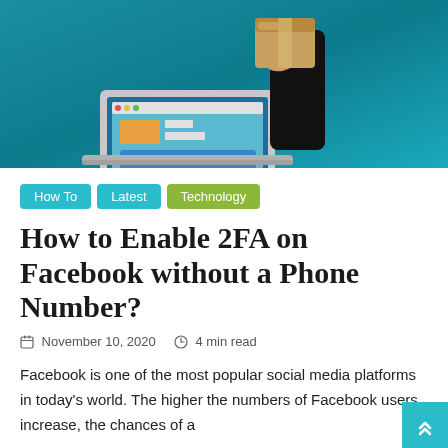[Figure (illustration): Illustration of a hand holding a package box in front of a laptop computer against a teal/blue background, suggesting online shopping or digital delivery concept.]
How To   Latest   Technology
How to Enable 2FA on Facebook without a Phone Number?
November 10, 2020   4 min read
Facebook is one of the most popular social media platforms in today's world. The higher the numbers of Facebook users increase, the chances of a